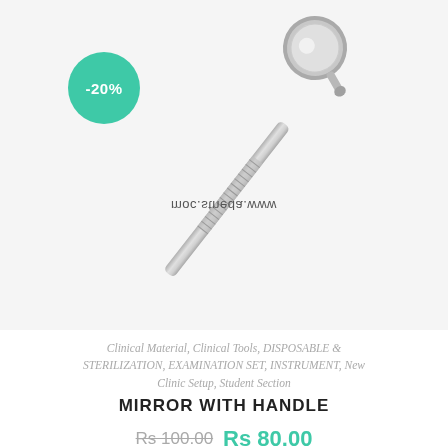[Figure (photo): A dental mouth mirror with a long textured stainless steel handle and a small round reflective mirror head, shown diagonally on a light grey background. A watermark text 'www.aadents.com' appears mirrored in the middle of the image.]
Clinical Material, Clinical Tools, DISPOSABLE & STERILIZATION, EXAMINATION SET, INSTRUMENT, New Clinic Setup, Student Section
MIRROR WITH HANDLE
Rs 100.00  Rs 80.00